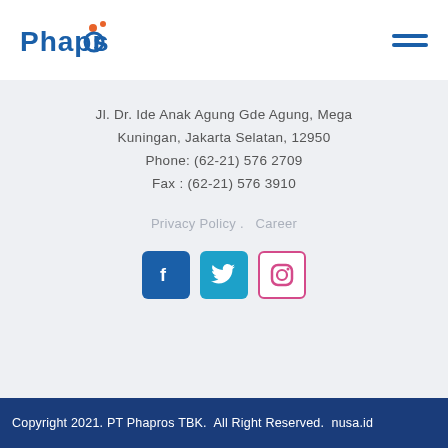[Figure (logo): Phapros company logo with blue text and orange dot on the letter o]
Jl. Dr. Ide Anak Agung Gde Agung, Mega Kuningan, Jakarta Selatan, 12950
Phone: (62-21) 576 2709
Fax : (62-21) 576 3910
Privacy Policy .  Career
[Figure (infographic): Social media icons: Facebook (blue), Twitter (cyan), Instagram (pink/magenta outline)]
Copyright 2021. PT Phapros TBK.  All Right Reserved.  nusa.id